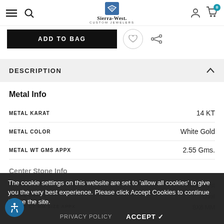Sierra-West Custom Jewelers — navigation bar with menu, search, account, cart (0)
ADD TO BAG
DESCRIPTION
Metal Info
| Attribute | Value |
| --- | --- |
| METAL KARAT | 14 KT |
| METAL COLOR | White Gold |
| METAL WT GMS APPX | 2.55 Gms. |
Center Stone Info
The cookie settings on this website are set to 'allow all cookies' to give you the very best experience. Please click Accept Cookies to continue to use the site.
PRIVACY POLICY    ACCEPT ✓